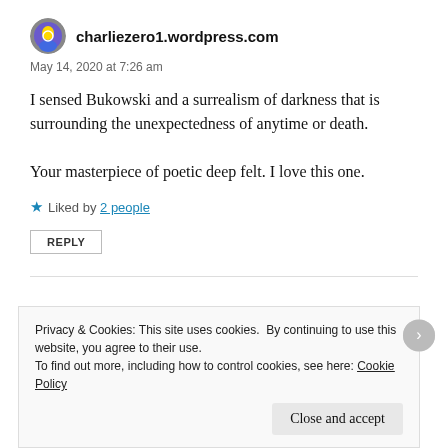charliezero1.wordpress.com
May 14, 2020 at 7:26 am
I sensed Bukowski and a surrealism of darkness that is surrounding the unexpectedness of anytime or death.

Your masterpiece of poetic deep felt. I love this one.
Liked by 2 people
REPLY
Privacy & Cookies: This site uses cookies. By continuing to use this website, you agree to their use.
To find out more, including how to control cookies, see here: Cookie Policy